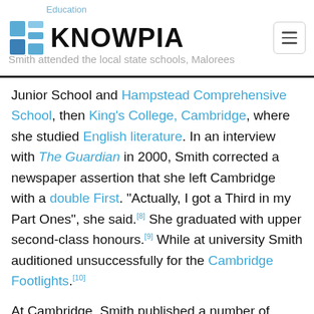KNOWPIA
Smith attended the local state schools, Malorees Junior School and Hampstead Comprehensive School, then King's College, Cambridge, where she studied English literature. In an interview with The Guardian in 2000, Smith corrected a newspaper assertion that she left Cambridge with a double First. "Actually, I got a Third in my Part Ones", she said.[8] She graduated with upper second-class honours.[9] While at university Smith auditioned unsuccessfully for the Cambridge Footlights.[10]
At Cambridge, Smith published a number of short stories in a collection of new student writing called The Mays Anthology. They attracted the attention of a publisher, who offered her a contract for her first novel. Smith decided to contact a literary agent and